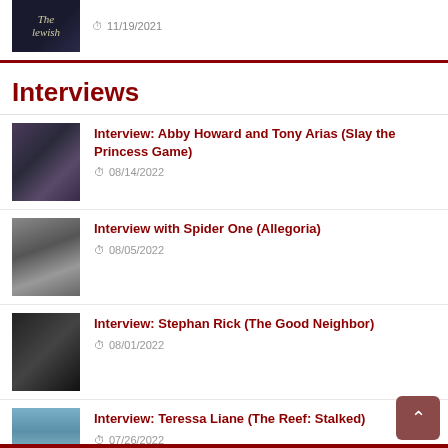[Figure (photo): Dark movie poster thumbnail with text 'The Jewish']
11/19/2021
Interviews
[Figure (photo): Interview thumbnail for Abby Howard and Tony Arias Slay the Princess Game]
Interview: Abby Howard and Tony Arias (Slay the Princess Game)
08/14/2022
[Figure (photo): Black and white photo of Spider One for Allegoria interview]
Interview with Spider One (Allegoria)
08/05/2022
[Figure (photo): Photo of Stephan Rick for The Good Neighbor interview]
Interview: Stephan Rick (The Good Neighbor)
08/01/2022
[Figure (photo): Ocean scene photo for The Reef Stalked interview with Teressa Liane]
Interview: Teressa Liane (The Reef: Stalked)
07/26/2022